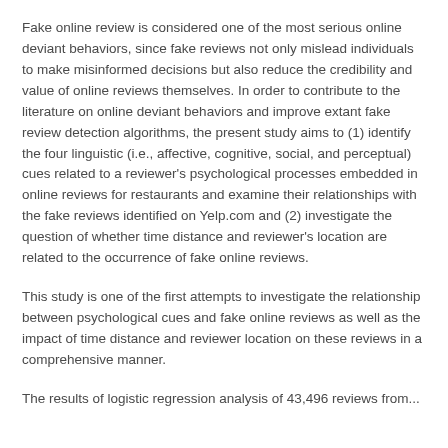Fake online review is considered one of the most serious online deviant behaviors, since fake reviews not only mislead individuals to make misinformed decisions but also reduce the credibility and value of online reviews themselves. In order to contribute to the literature on online deviant behaviors and improve extant fake review detection algorithms, the present study aims to (1) identify the four linguistic (i.e., affective, cognitive, social, and perceptual) cues related to a reviewer's psychological processes embedded in online reviews for restaurants and examine their relationships with the fake reviews identified on Yelp.com and (2) investigate the question of whether time distance and reviewer's location are related to the occurrence of fake online reviews.
This study is one of the first attempts to investigate the relationship between psychological cues and fake online reviews as well as the impact of time distance and reviewer location on these reviews in a comprehensive manner.
The results of logistic regression analysis of 43,496 reviews from...